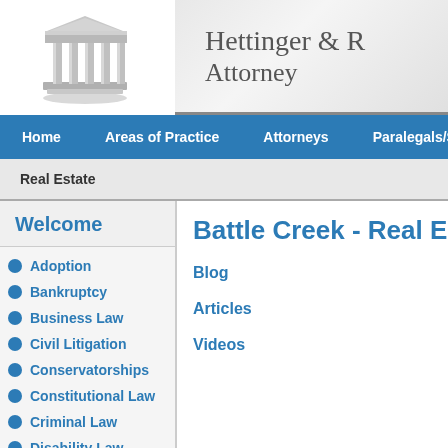[Figure (logo): Courthouse/building column icon in gray 3D style]
Hettinger & [R] Attorneys
Home   Areas of Practice   Attorneys   Paralegals/Sta
Real Estate
Welcome
Adoption
Bankruptcy
Business Law
Civil Litigation
Conservatorships
Constitutional Law
Criminal Law
Disability Law
Divorce
Drunk Driving
Battle Creek - Real Esta
Blog
Articles
Videos